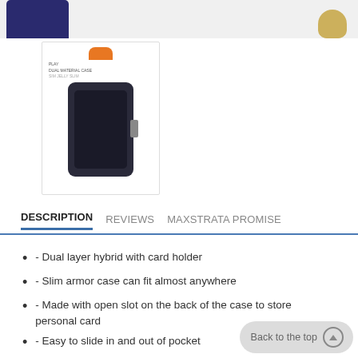[Figure (photo): Top strip with partial product images - phone case in dark blue on left, gold colored accessory on right]
[Figure (photo): Product thumbnail image showing packaged dual material slim armor phone case with card holder, packaging has orange hanger tab at top]
DESCRIPTION   REVIEWS   MAXSTRATA PROMISE
- Dual layer hybrid with card holder
- Slim armor case can fit almost anywhere
- Made with open slot on the back of the case to store personal card
- Easy to slide in and out of pocket
- Well cutout for buttons and audio...